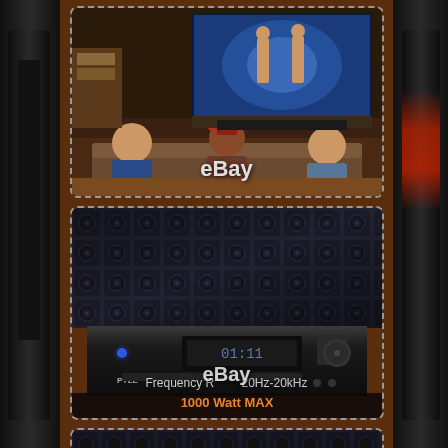[Figure (photo): People watching TV/boxing match on large screen in living room - eBay product listing image]
[Figure (photo): Array of speakers on wall above a Pyle audio amplifier/receiver unit showing 1000 Watt MAX and Frequency Response 20Hz-20kHz - eBay product listing image]
[Figure (photo): Partially visible third product image at bottom of page]